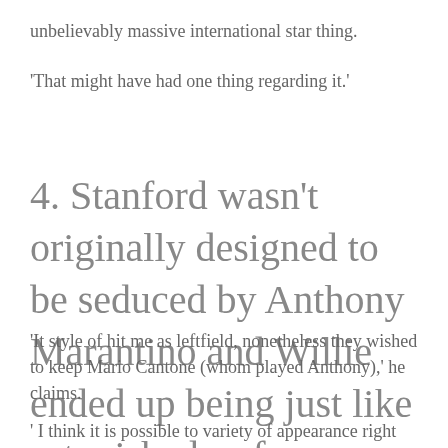unbelievably massive international star thing.
'That might have had one thing regarding it.'
4. Stanford wasn't originally designed to be seduced by Anthony Marantino and Willie ended up being just like astonished as fans as soon as the pair tied the knot within the SATC that is second movie despite hating one another through the TV show.
'It style of hit me as leftfield, nonetheless they wished to keep Mario Cantone (whom played Anthony),' he claims.
' I think it is possible to variety of appearance right back and think they hated one another simply because they